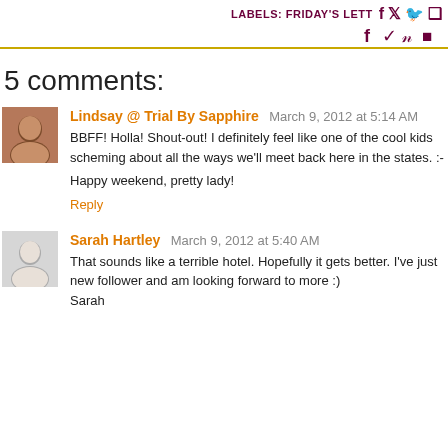LABELS: FRIDAY'S LETT…
5 comments:
Lindsay @ Trial By Sapphire  March 9, 2012 at 5:14 AM
BBFF! Holla! Shout-out! I definitely feel like one of the cool kids scheming about all the ways we'll meet back here in the states. :-

Happy weekend, pretty lady!
Reply
Sarah Hartley  March 9, 2012 at 5:40 AM
That sounds like a terrible hotel. Hopefully it gets better. I've just new follower and am looking forward to more :)
Sarah